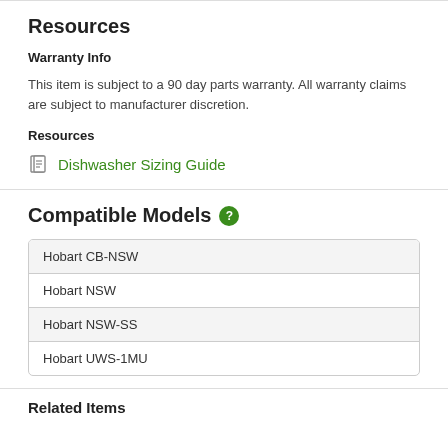Resources
Warranty Info
This item is subject to a 90 day parts warranty. All warranty claims are subject to manufacturer discretion.
Resources
Dishwasher Sizing Guide
Compatible Models
| Hobart CB-NSW |
| Hobart NSW |
| Hobart NSW-SS |
| Hobart UWS-1MU |
Related Items